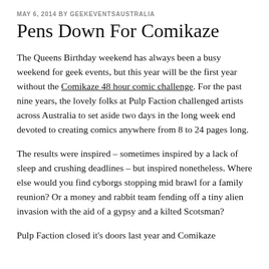MAY 6, 2014 BY GEEKEVENTSAUSTRALIA
Pens Down For Comikaze
The Queens Birthday weekend has always been a busy weekend for geek events, but this year will be the first year without the Comikaze 48 hour comic challenge. For the past nine years, the lovely folks at Pulp Faction challenged artists across Australia to set aside two days in the long week end devoted to creating comics anywhere from 8 to 24 pages long.
The results were inspired – sometimes inspired by a lack of sleep and crushing deadlines – but inspired nonetheless. Where else would you find cyborgs stopping mid brawl for a family reunion? Or a money and rabbit team fending off a tiny alien invasion with the aid of a gypsy and a kilted Scotsman?
Pulp Faction closed it's doors last year and Comikaze…